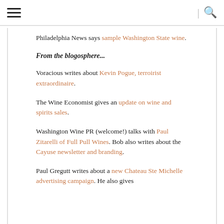[hamburger menu] | [search icon]
Philadelphia News says sample Washington State wine.
From the blogosphere...
Voracious writes about Kevin Pogue, terroirist extraordinaire.
The Wine Economist gives an update on wine and spirits sales.
Washington Wine PR (welcome!) talks with Paul Zitarelli of Full Pull Wines. Bob also writes about the Cayuse newsletter and branding.
Paul Gregutt writes about a new Chateau Ste Michelle advertising campaign. He also gives